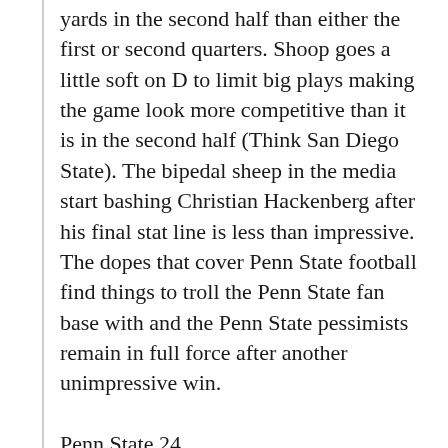yards in the second half than either the first or second quarters. Shoop goes a little soft on D to limit big plays making the game look more competitive than it is in the second half (Think San Diego State). The bipedal sheep in the media start bashing Christian Hackenberg after his final stat line is less than impressive. The dopes that cover Penn State football find things to troll the Penn State fan base with and the Penn State pessimists remain in full force after another unimpressive win.
Penn State 24
Indiana 10